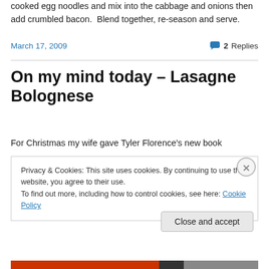cooked egg noodles and mix into the cabbage and onions then add crumbled bacon. Blend together, re-season and serve.
March 17, 2009
2 Replies
On my mind today – Lasagne Bolognese
For Christmas my wife gave Tyler Florence's new book
Privacy & Cookies: This site uses cookies. By continuing to use this website, you agree to their use.
To find out more, including how to control cookies, see here: Cookie Policy
Close and accept